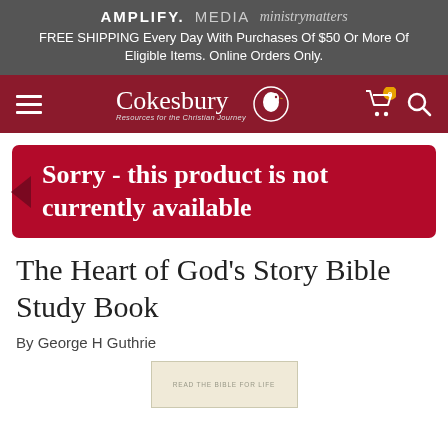AMPLIFY. MEDIA ministrymatters
FREE SHIPPING Every Day With Purchases Of $50 Or More Of Eligible Items. Online Orders Only.
[Figure (logo): Cokesbury logo with bird icon, navigation bar with hamburger menu, cart icon with badge showing 0, and search icon on dark red background]
Sorry - this product is not currently available
The Heart of God's Story Bible Study Book
By George H Guthrie
[Figure (photo): Partial view of book cover at bottom of page]